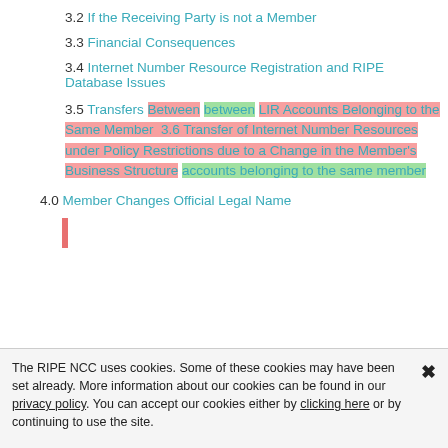3.2 If the Receiving Party is not a Member
3.3 Financial Consequences
3.4 Internet Number Resource Registration and RIPE Database Issues
3.5 Transfers Between between LIR Accounts Belonging to the Same Member 3.6 Transfer of Internet Number Resources under Policy Restrictions due to a Change in the Member's Business Structure accounts belonging to the same member
4.0 Member Changes Official Legal Name
The RIPE NCC uses cookies. Some of these cookies may have been set already. More information about our cookies can be found in our privacy policy. You can accept our cookies either by clicking here or by continuing to use the site.